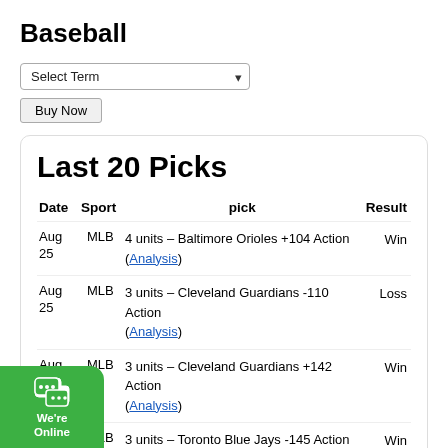Baseball
Select Term
Buy Now
Last 20 Picks
| Date | Sport | pick | Result |
| --- | --- | --- | --- |
| Aug 25 | MLB | 4 units – Baltimore Orioles +104 Action (Analysis) | Win |
| Aug 25 | MLB | 3 units – Cleveland Guardians -110 Action (Analysis) | Loss |
| Aug | MLB | 3 units – Cleveland Guardians +142 Action (Analysis) | Win |
|  | MLB | 3 units – Toronto Blue Jays -145 Action (Analysis) | Win |